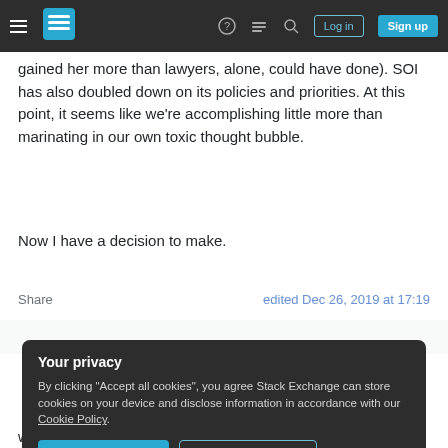Stack Exchange navigation bar with hamburger menu, logo, help, chat, search, Log in, Sign up
gained her more than lawyers, alone, could have done). SOI has also doubled down on its policies and priorities. At this point, it seems like we're accomplishing little more than marinating in our own toxic thought bubble.
Now I have a decision to make.
Share   edited Dec 26, 2019 at 17:19
Your privacy
By clicking "Accept all cookies", you agree Stack Exchange can store cookies on your device and disclose information in accordance with our Cookie Policy.
Accept all cookies   Customize settings
with venture funding, they are almost definitely hoping to